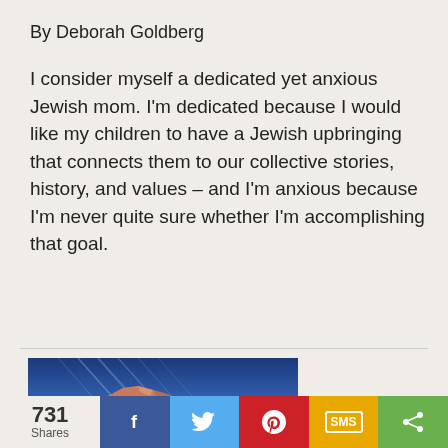By Deborah Goldberg
I consider myself a dedicated yet anxious Jewish mom. I'm dedicated because I would like my children to have a Jewish upbringing that connects them to our collective stories, history, and values – and I'm anxious because I'm never quite sure whether I'm accomplishing that goal.
[Figure (photo): Landscape photo showing rocky mountain formations under a dramatic blue sky with rays of light]
731 Shares
Social share buttons: Facebook, Twitter, Pinterest, SMS, Share